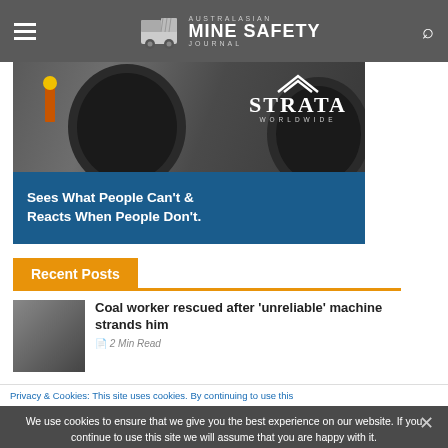Australasian Mine Safety Journal — navigation header with hamburger menu and search
[Figure (photo): Strata Worldwide advertisement banner showing mine worker standing next to large mining machinery tire, with text 'Sees What People Can't & Reacts When People Don't.' on a blue band at the bottom]
Recent Posts
Coal worker rescued after 'unreliable' machine strands him
2 Min Read
Privacy & Cookies: This site uses cookies. By continuing to use this
We use cookies to ensure that we give you the best experience on our website. If you continue to use this site we will assume that you are happy with it.